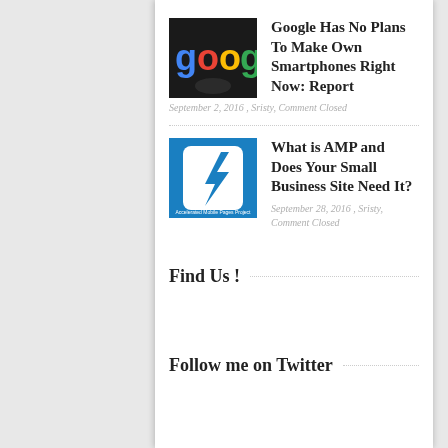[Figure (photo): Google logo thumbnail image with colorful letters on dark background]
Google Has No Plans To Make Own Smartphones Right Now: Report
September 2, 2016 , Sristy, Comment Closed
[Figure (logo): AMP (Accelerated Mobile Pages Project) logo — white lightning bolt on blue square background]
What is AMP and Does Your Small Business Site Need It?
September 28, 2016 , Sristy, Comment Closed
Find Us !
Follow me on Twitter